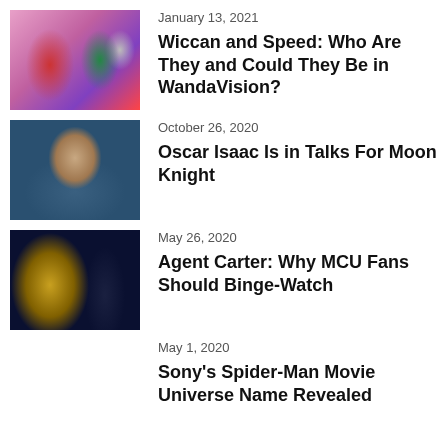[Figure (photo): Comic book art showing Wiccan and Speed characters in colorful superhero costumes]
January 13, 2021
Wiccan and Speed: Who Are They and Could They Be in WandaVision?
[Figure (photo): Photo of Oscar Isaac, a man with dark hair in a blue jacket]
October 26, 2020
Oscar Isaac Is in Talks For Moon Knight
[Figure (photo): Scene from Agent Carter showing a golden eagle emblem and a woman in dark coat]
May 26, 2020
Agent Carter: Why MCU Fans Should Binge-Watch
May 1, 2020
Sony's Spider-Man Movie Universe Name Revealed